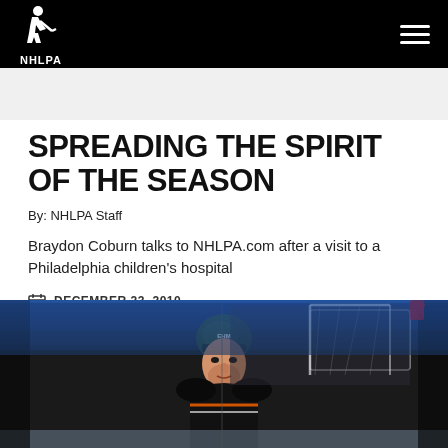NHLPA
SPREADING THE SPIRIT OF THE SEASON
By: NHLPA Staff
Braydon Coburn talks to NHLPA.com after a visit to a Philadelphia children's hospital
DECEMBER 23, 2010
[Figure (photo): Hockey player Braydon Coburn in a green/dark helmet and Philadelphia Flyers uniform on an ice rink, with arena and goal net visible in the background.]